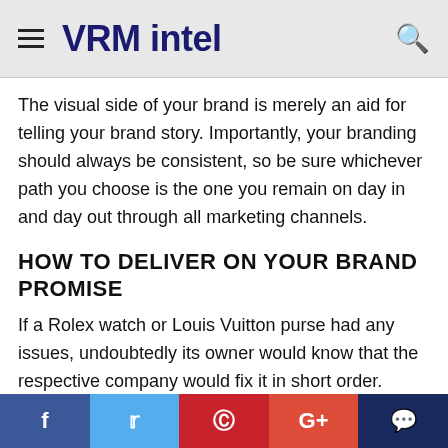VRM intel
The visual side of your brand is merely an aid for telling your brand story. Importantly, your branding should always be consistent, so be sure whichever path you choose is the one you remain on day in and day out through all marketing channels.
HOW TO DELIVER ON YOUR BRAND PROMISE
If a Rolex watch or Louis Vuitton purse had any issues, undoubtedly its owner would know that the respective company would fix it in short order. These companies are trusted to deliver on their brand promises of quality, excellence, prominence, and more. In the same way, you